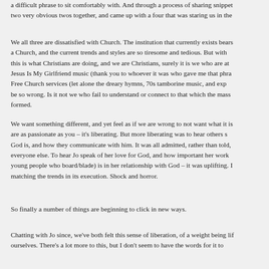a difficult phrase to sit comfortably with. And through a process of sharing snippets two very obvious twos together, and came up with a four that was staring us in the
We all three are dissatisfied with Church. The institution that currently exists bears a Church, and the current trends and styles are so tiresome and tedious. But with this is what Christians are doing, and we are Christians, surely it is we who are at Jesus Is My Girlfriend music (thank you to whoever it was who gave me that phra Free Church services (let alone the dreary hymns, 70s tamborine music, and expo be so wrong. Is it not we who fail to understand or connect to that which the mass formed.
We want something different, and yet feel as if we are wrong to not want what it is are as passionate as you – it's liberating. But more liberating was to hear others s God is, and how they communicate with him. It was all admitted, rather than told, everyone else. To hear Jo speak of her love for God, and how important her work young people who board/blade) is in her relationship with God – it was uplifting. I matching the trends in its execution. Shock and horror.
So finally a number of things are beginning to click in new ways.
Chatting with Jo since, we've both felt this sense of liberation, of a weight being lif ourselves. There's a lot more to this, but I don't seem to have the words for it to